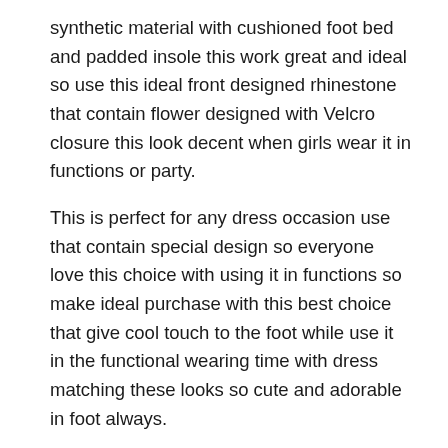synthetic material with cushioned foot bed and padded insole this work great and ideal so use this ideal front designed rhinestone that contain flower designed with Velcro closure this look decent when girls wear it in functions or party.
This is perfect for any dress occasion use that contain special design so everyone love this choice with using it in functions so make ideal purchase with this best choice that give cool touch to the foot while use it in the functional wearing time with dress matching these looks so cute and adorable in foot always.
Main Features:
Cushioned Foot Bed: the cushioned foot bed with